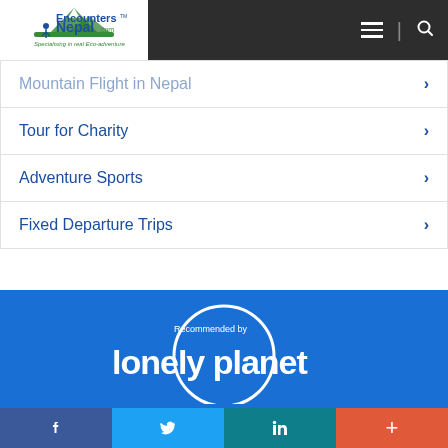Encounters Nepal - Specialising in real Eco-adventure
Mountain Flight in Nepal
Tour for Charity
Adventure Sports
Fixed Departure Trips
[Figure (logo): Recommended by Lonely Planet logo in white on blue background]
Facebook | Twitter | LinkedIn | More